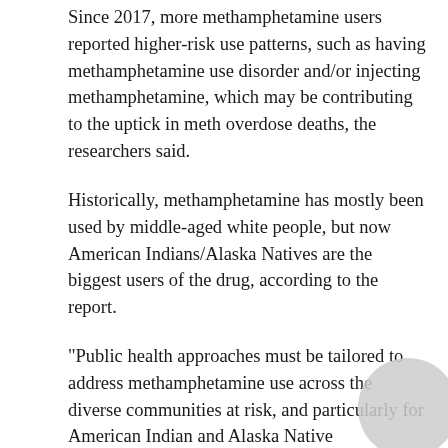Since 2017, more methamphetamine users reported higher-risk use patterns, such as having methamphetamine use disorder and/or injecting methamphetamine, which may be contributing to the uptick in meth overdose deaths, the researchers said.
Historically, methamphetamine has mostly been used by middle-aged white people, but now American Indians/Alaska Natives are the biggest users of the drug, according to the report.
"Public health approaches must be tailored to address methamphetamine use across the diverse communities at risk, and particularly for American Indian and Alaska Native communities, who have the highest risk for methamphetamine misuse and are too often underserved," Volkow said in an institute news release.
Also, the prevalence of methamphetamine use disorder among those who did not inject the drug increased 10 times among Black people from 2015 to 2019, a much steeper increase than among white or Hispanic people.
Methamphetamine use has been linked to HIV